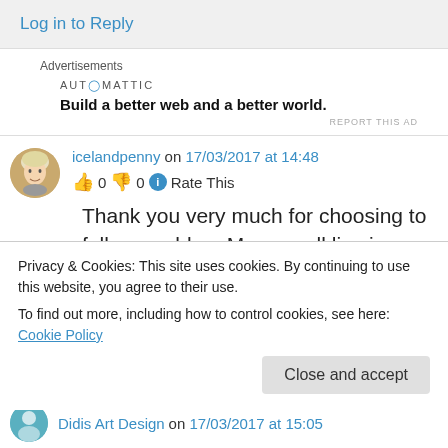Log in to Reply
Advertisements
[Figure (logo): Automattic logo with tagline: Build a better web and a better world.]
REPORT THIS AD
icelandpenny on 17/03/2017 at 14:48
👍 0 👎 0 ℹ Rate This
Thank you very much for choosing to follow my blog. May we all live in peace.
Privacy & Cookies: This site uses cookies. By continuing to use this website, you agree to their use.
To find out more, including how to control cookies, see here: Cookie Policy
Close and accept
Didis Art Design on 17/03/2017 at 15:05